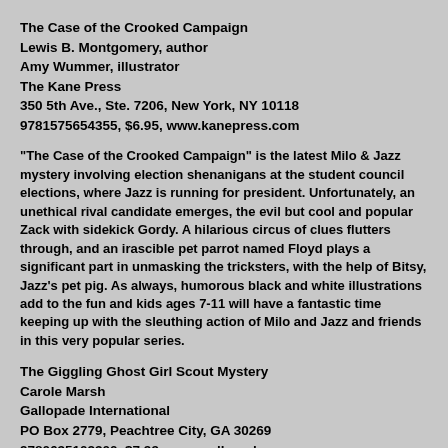The Case of the Crooked Campaign
Lewis B. Montgomery, author
Amy Wummer, illustrator
The Kane Press
350 5th Ave., Ste. 7206, New York, NY 10118
9781575654355, $6.95, www.kanepress.com
"The Case of the Crooked Campaign" is the latest Milo & Jazz mystery involving election shenanigans at the student council elections, where Jazz is running for president. Unfortunately, an unethical rival candidate emerges, the evil but cool and popular Zack with sidekick Gordy. A hilarious circus of clues flutters through, and an irascible pet parrot named Floyd plays a significant part in unmasking the tricksters, with the help of Bitsy, Jazz's pet pig. As always, humorous black and white illustrations add to the fun and kids ages 7-11 will have a fantastic time keeping up with the sleuthing action of Milo and Jazz and friends in this very popular series.
The Giggling Ghost Girl Scout Mystery
Carole Marsh
Gallopade International
PO Box 2779, Peachtree City, GA 30269
9780635102300, $7.99, www.gallopade.com